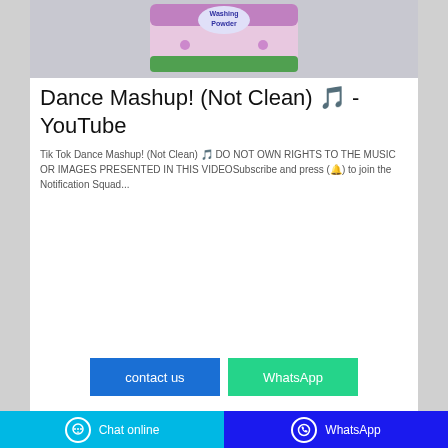[Figure (photo): Product image of a washing powder bag with purple/lavender design on a grey background]
Dance Mashup! (Not Clean) 🎵 - YouTube
Tik Tok Dance Mashup! (Not Clean) 🎵 DO NOT OWN RIGHTS TO THE MUSIC OR IMAGES PRESENTED IN THIS VIDEOSubscribe and press (🔔) to join the Notification Squad...
contact us
WhatsApp
Chat online    WhatsApp